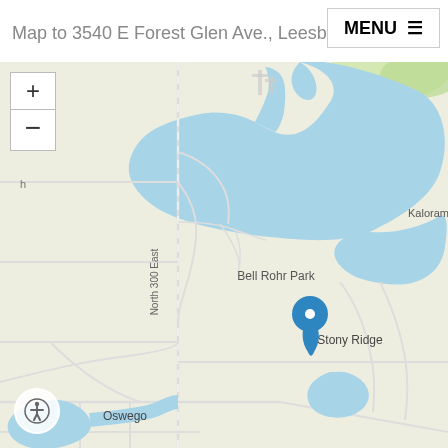Map to 3540 E Forest Glen Ave., Leesburg, I
[Figure (map): Street map showing Lake Tippecanoe area near Leesburg, Indiana. Features a large blue lake body with labels: Tippecanoe Seaplane Base (with airplane icon), Bell Rohr Park, Stony Ridge, Forest Glen, Kalorama Park, Potawa Par, Oswego. A blue location pin marker is placed on the lake near Stony Ridge. Map has zoom in/out controls top-left and an accessibility button bottom-left. Roads and streets are shown in light gray on a beige/cream background.]